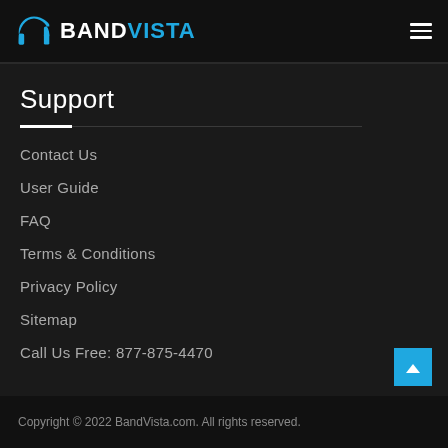BANDVISTA
Support
Contact Us
User Guide
FAQ
Terms & Conditions
Privacy Policy
Sitemap
Call Us Free: 877-875-4470
Copyright © 2022 BandVista.com. All rights reserved.